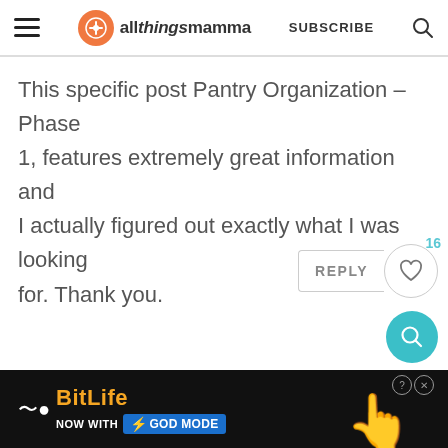allthingsmamma — SUBSCRIBE
This specific post Pantry Organization – Phase 1, features extremely great information and I actually figured out exactly what I was looking for. Thank you.
[Figure (screenshot): REPLY button and heart/like button with count 16]
[Figure (screenshot): Floating teal circular search button]
[Figure (infographic): BitLife advertisement banner — NOW WITH GOD MODE]